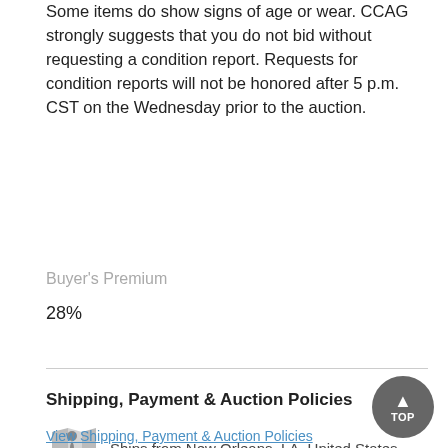Some items do show signs of age or wear. CCAG strongly suggests that you do not bid without requesting a condition report. Requests for condition reports will not be honored after 5 p.m. CST on the Wednesday prior to the auction.
Buyer's Premium
28%
Shipping, Payment & Auction Policies
Ships from New Orleans, LA, United States
Local Pick-Up New Orleans, LA, United States
View Shipping, Payment & Auction Policies